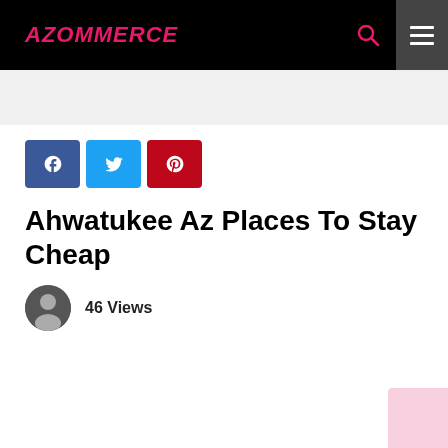AZOMMERCE
[Figure (logo): AZOMMERCE website header with black background, pink italic bold logo text, pink search icon, and grey hamburger menu button]
Ahwatukee Az Places To Stay Cheap
46 Views